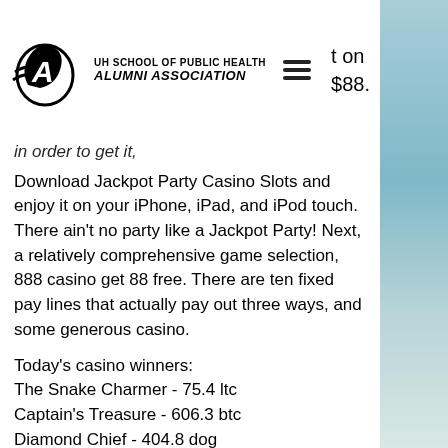UH School of Public Health Alumni Association | t on | $88.
in order to get it,
Download Jackpot Party Casino Slots and enjoy it on your iPhone, iPad, and iPod touch. There ain't no party like a Jackpot Party! Next, a relatively comprehensive game selection, 888 casino get 88 free. There are ten fixed pay lines that actually pay out three ways, and some generous casino.
Today's casino winners:
The Snake Charmer - 75.4 ltc
Captain's Treasure - 606.3 btc
Diamond Chief - 404.8 dog
Go Bananas - 393.8 btc
Demon Jack 27 - 408.1 bch
2027 ISS - 154 btc
Spin Party - 639.8 ltc
Pagoda of Fortune - 196.2 ltc